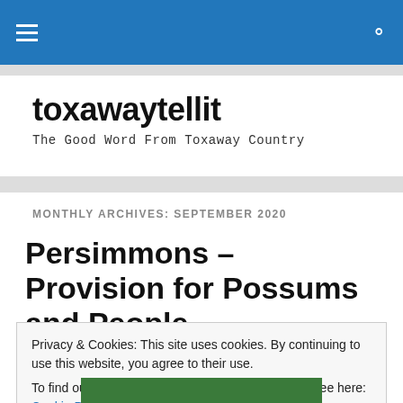toxawaytellit — navigation header bar
toxawaytellit
The Good Word From Toxaway Country
MONTHLY ARCHIVES: SEPTEMBER 2020
Persimmons – Provision for Possums and People
Privacy & Cookies: This site uses cookies. By continuing to use this website, you agree to their use.
To find out more, including how to control cookies, see here: Cookie Policy
Close and accept